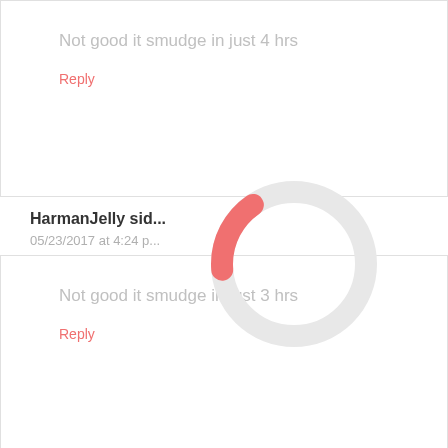05/23/2017 at 4:21 pm
Not good it smudge in just 4 hrs
Reply
HarmanJelly sid...
05/23/2017 at 4:24 p...
[Figure (other): Loading spinner donut shape, mostly light gray with a salmon/coral segment at the bottom-right]
Not good it smudge in just 3 hrs
Reply